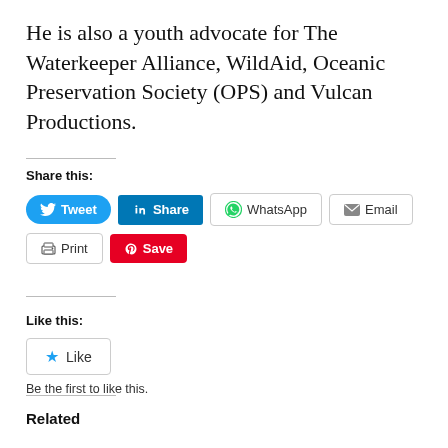He is also a youth advocate for The Waterkeeper Alliance, WildAid, Oceanic Preservation Society (OPS) and Vulcan Productions.
Share this:
Tweet | Share | WhatsApp | Email | Print | Save
Like this:
Like
Be the first to like this.
Related